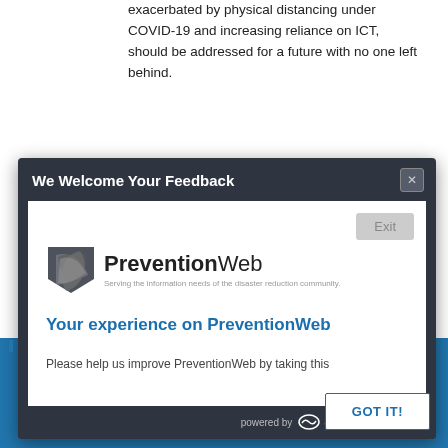exacerbated by physical distancing under COVID-19 and increasing reliance on ICT, should be addressed for a future with no one left behind.
[Figure (screenshot): A modal dialog titled 'We Welcome Your Feedback' with dark header, white body containing PreventionWeb logo, survey title 'Your experience on PreventionWeb', partial text 'Please help us improve PreventionWeb by taking this', an Exit button, and SurveyMonkey branding in the footer.]
GOT IT!